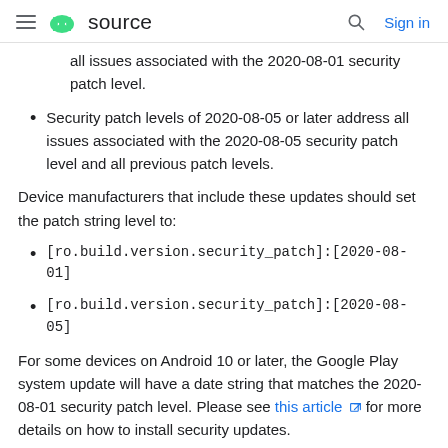≡  source   🔍  Sign in
all issues associated with the 2020-08-01 security patch level.
Security patch levels of 2020-08-05 or later address all issues associated with the 2020-08-05 security patch level and all previous patch levels.
Device manufacturers that include these updates should set the patch string level to:
[ro.build.version.security_patch]:[2020-08-01]
[ro.build.version.security_patch]:[2020-08-05]
For some devices on Android 10 or later, the Google Play system update will have a date string that matches the 2020-08-01 security patch level. Please see this article for more details on how to install security updates.